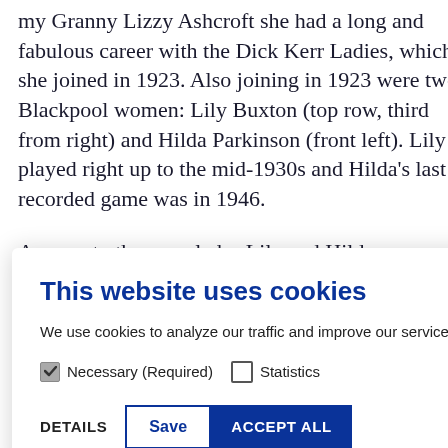my Granny Lizzy Ashcroft she had a long and fabulous career with the Dick Kerr Ladies, which she joined in 1923. Also joining in 1923 were two Blackpool women: Lily Buxton (top row, third from right) and Hilda Parkinson (front left). Lily played right up to the mid-1930s and Hilda's last recorded game was in 1946.
Amongst other accolades Lily and Hilda were:
Guests at Civic Receptions given by the
[Figure (screenshot): Cookie consent modal dialog with title 'This website uses cookies', description text, Necessary (Required) checkbox (checked) and Statistics checkbox (unchecked), and buttons: DETAILS, Save, ACCEPT ALL]
careers under the shadow of the infamous